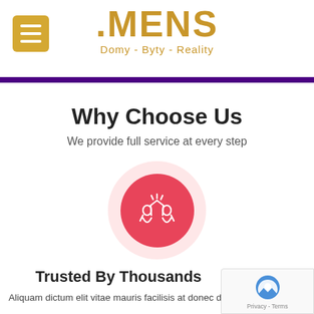.MENS Domy - Byty - Reality
Why Choose Us
We provide full service at every step
[Figure (illustration): Two people high-fiving icon in white on a red/coral circle with a pink outer glow circle]
Trusted By Thousands
Aliquam dictum elit vitae mauris facilisis at donec dic...